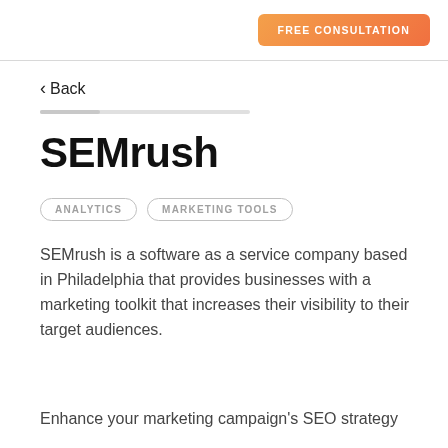FREE CONSULTATION
< Back
SEMrush
ANALYTICS
MARKETING TOOLS
SEMrush is a software as a service company based in Philadelphia that provides businesses with a marketing toolkit that increases their visibility to their target audiences.
Enhance your marketing campaign's SEO strategy